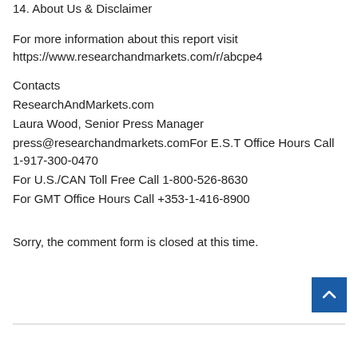14. About Us & Disclaimer
For more information about this report visit https://www.researchandmarkets.com/r/abcpe4
Contacts
ResearchAndMarkets.com
Laura Wood, Senior Press Manager
press@researchandmarkets.comFor E.S.T Office Hours Call 1-917-300-0470
For U.S./CAN Toll Free Call 1-800-526-8630
For GMT Office Hours Call +353-1-416-8900
Sorry, the comment form is closed at this time.